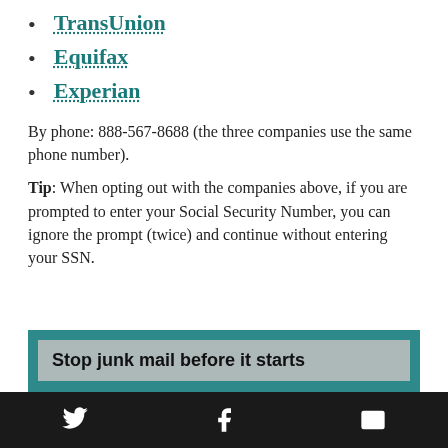TransUnion
Equifax
Experian
By phone: 888-567-8688 (the three companies use the same phone number).
Tip: When opting out with the companies above, if you are prompted to enter your Social Security Number, you can ignore the prompt (twice) and continue without entering your SSN.
Stop junk mail before it starts
Ask organizations you’ve donated to and anyone who sends you a bill not to sell or exchange your address